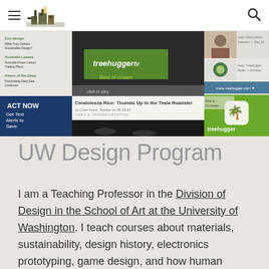UW Design Program — treehugger site navigation header
[Figure (screenshot): Screenshot of treehugger.com website showing eco-design articles, treehuggerTV video player with 'Best of Green', Condoleeza Rice thumbs up to Tesla Roadster article, ACT NOW text alerts banner, How to Go Green sidebar, and treehugger logo]
UW Design Program
I am a Teaching Professor in the Division of Design in the School of Art at the University of Washington. I teach courses about materials, sustainability, design history, electronics prototyping, game design, and how human culture interacts with